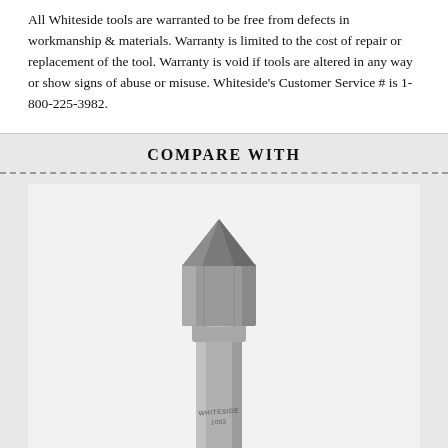All Whiteside tools are warranted to be free from defects in workmanship & materials. Warranty is limited to the cost of repair or replacement of the tool. Warranty is void if tools are altered in any way or show signs of abuse or misuse. Whiteside's Customer Service # is 1-800-225-3982.
COMPARE WITH
[Figure (photo): A Whiteside router bit tool — a V-groove or chamfer bit with a pointed tip, cylindrical silver shank with engraved text, shown against a light gray background.]